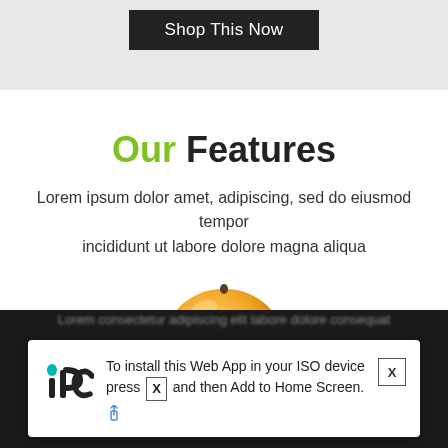[Figure (screenshot): Dark gray top section with a 'Shop This Now' button on a black background]
Our Features
Lorem ipsum dolor amet, adipiscing, sed do eiusmod tempor incididunt ut labore dolore magna aliqua
[Figure (photo): Top of an orange fruit partially visible]
To install this Web App in your ISO device press X and then Add to Home Screen.
Ok